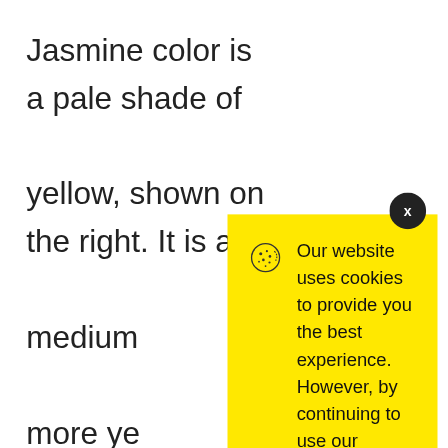Jasmine color is a pale shade of yellow, shown on the right. It is a medium more ye pale yell flower. T jasmine was in 1
[Figure (screenshot): Cookie consent modal popup with yellow background, cookie icon, text about website cookie usage, a link to Cookie Policy, and an Accept button. A dark close button (x) is in the top-right corner of the modal.]